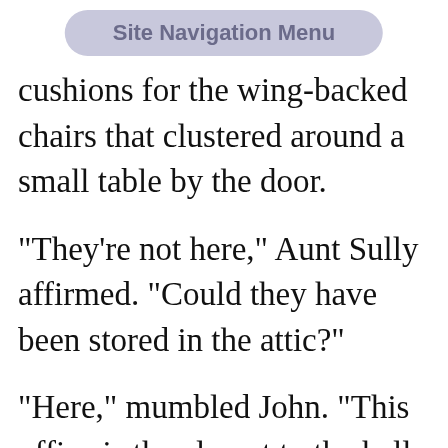Site Navigation Menu
cushions for the wing-backed chairs that clustered around a small table by the door.
"They're not here," Aunt Sully affirmed. "Could they have been stored in the attic?"
"Here," mumbled John. "This office is the closest to the hall. You wouldn't want anything